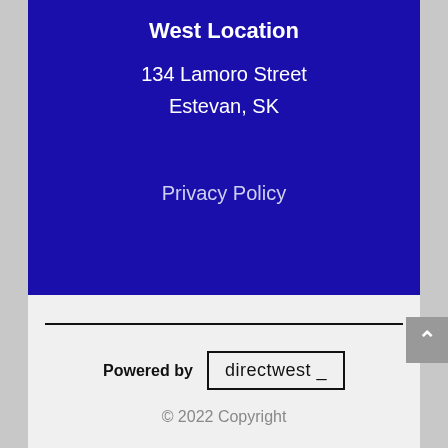West Location
134 Lamoro Street
Estevan, SK
Privacy Policy
Powered by directwest_
© 2022 Copyright